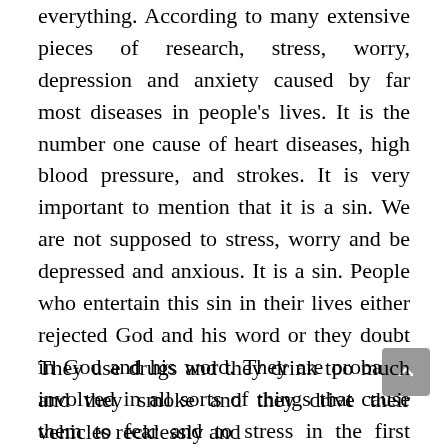everything. According to many extensive pieces of research, stress, worry, depression and anxiety caused by far most diseases in people's lives. It is the number one cause of heart diseases, high blood pressure, and strokes. It is very important to mention that it is a sin. We are not supposed to stress, worry and be depressed and anxious. It is a sin. People who entertain this sin in their lives either rejected God and his word or they doubt in God and his word. They are probably involved in all sorts of things that cause them to fear and to stress in the first place. They are far from God and his word. That is why they suffer and experience all sorts of diseases and calamities in their lives.
They use drugs and they drink too much and they smoke and they drive their vehicles recklessly and